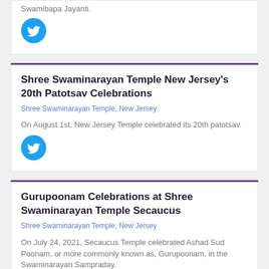Swamibapa Jayanti.
[Figure (logo): Twitter bird icon button, blue circle with white bird]
Shree Swaminarayan Temple New Jersey's 20th Patotsav Celebrations
Shree Swaminarayan Temple, New Jersey
On August 1st, New Jersey Temple celebrated its 20th patotsav.
[Figure (logo): Twitter bird icon button, blue circle with white bird]
Gurupoonam Celebrations at Shree Swaminarayan Temple Secaucus
Shree Swaminarayan Temple, New Jersey
On July 24, 2021, Secaucus Temple celebrated Ashad Sud Poonam, or more commonly known as, Gurupoonam, in the Swaminarayan Sampraday.